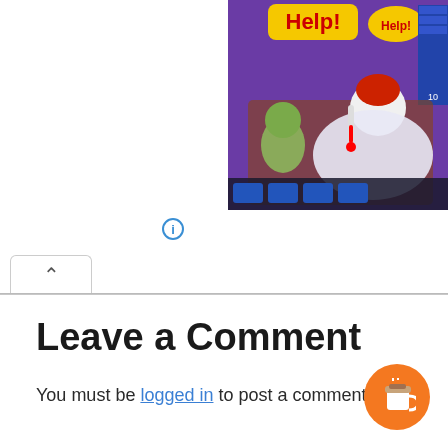[Figure (screenshot): Game screenshot showing a zombie patient in bed with a red-haired character, thermometer, and 'Help!' text bubble, with a game UI overlay on a purple background]
Leave a Comment
You must be logged in to post a comment.
[Figure (illustration): Orange circular button with a coffee cup icon (Buy Me a Coffee widget)]